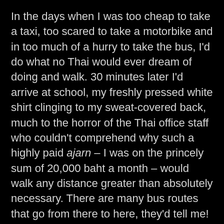In the days when I was too cheap to take a taxi, too scared to take a motorbike and in too much of a hurry to take the bus, I'd do what no Thai would ever dream of doing and walk. 30 minutes later I'd arrive at school, my freshly pressed white shirt clinging to my sweat-covered back, much to the horror of the Thai office staff who couldn't comprehend why such a highly paid ajarn – I was on the princely sum of 20,000 baht a month – would walk any distance greater than absolutely necessary. There are many bus routes that go from there to here, they'd tell me!